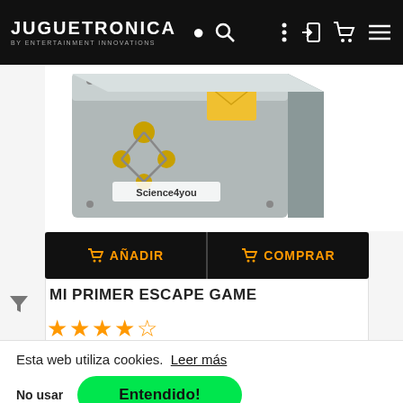JUGUETRONICA BY ENTERTAINMENT INNOVATIONS
[Figure (photo): Partial product box image showing Science4you branded escape game kit on white background]
🛒 AÑADIR   🛒 COMPRAR
MI PRIMER ESCAPE GAME
[Figure (other): 4.5 star rating shown in orange stars]
Esta web utiliza cookies.  Leer más
No usar
Entendido!
32.99 €